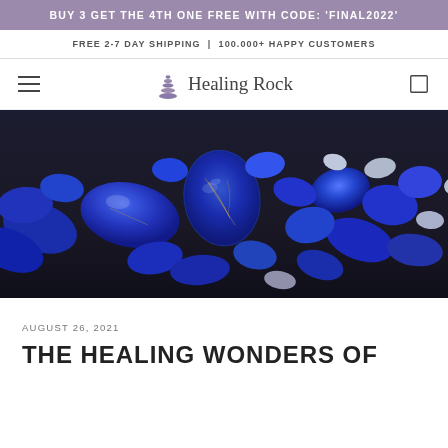BUY 3 GET THE 4TH ONE FREE WITH CODE: 'FINAL2022'
FREE 2-7 DAY SHIPPING | 100.000+ HAPPY CUSTOMERS
Healing Rock
[Figure (photo): Close-up photograph of multiple deep blue lapis lazuli tumbled stones scattered on a dark wooden surface. Stones have a rich royal blue color with white and gold mineral veining.]
AUGUST 26, 2021
THE HEALING WONDERS OF